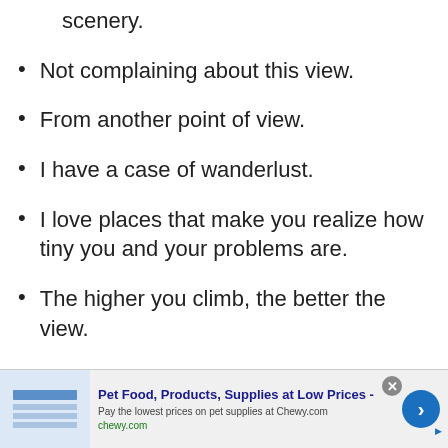scenery.
Not complaining about this view.
From another point of view.
I have a case of wanderlust.
I love places that make you realize how tiny you and your problems are.
The higher you climb, the better the view.
Go wherever you feel most alive.
[Figure (infographic): Advertisement banner for Chewy.com: Pet Food, Products, Supplies at Low Prices. Pay the lowest prices on pet supplies at Chewy.com]